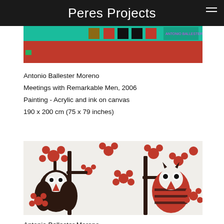Peres Projects
[Figure (photo): Top portion of a colorful painting with teal/green patterned band and red band, with text 'ANTONIO BALLESTER' visible]
Antonio Ballester Moreno
Meetings with Remarkable Men, 2006
Painting - Acrylic and ink on canvas
190 x 200 cm (75 x 79 inches)
[Figure (photo): Painting showing two stylized owls in dark brown/black among red flowers and dark branches on white background]
Antonio Ballester Moreno